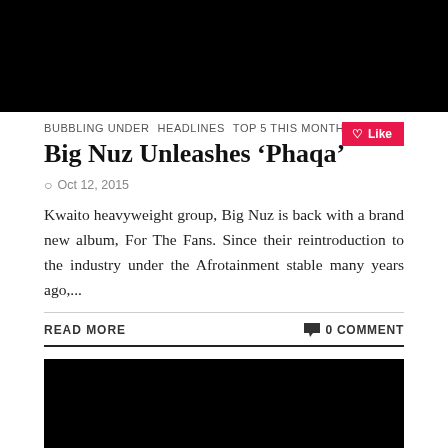[Figure (photo): Black rectangle representing a top image/banner area]
BUBBLING UNDER  HEADLINES  TOP 5 THIS MONTH
Big Nuz Unleashes ‘Phaqa’
Oct 12, 2015
Kwaito heavyweight group, Big Nuz is back with a brand new album, For The Fans. Since their reintroduction to the industry under the Afrotainment stable many years ago,...
READ MORE
0 COMMENT
[Figure (photo): Black rectangle representing a second article image]